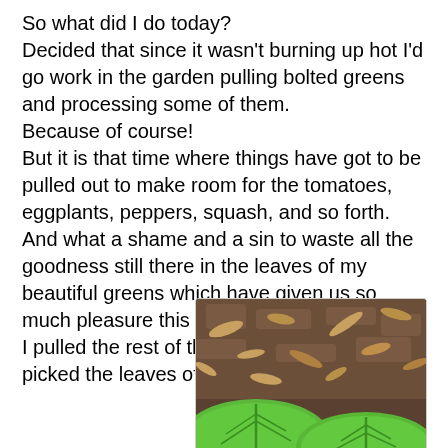So what did I do today? Decided that since it wasn't burning up hot I'd go work in the garden pulling bolted greens and processing some of them. Because of course! But it is that time where things have got to be pulled out to make room for the tomatoes, eggplants, peppers, squash, and so forth. And what a shame and a sin to waste all the goodness still there in the leaves of my beautiful greens which have given us so much pleasure this winter. So. I did what I did. I pulled the rest of the mustard greens and picked the leaves off of them.
[Figure (photo): A garden photo showing dark soil with dried leaves scattered on top and large bright green leaves (mustard greens) visible at the bottom of the frame.]